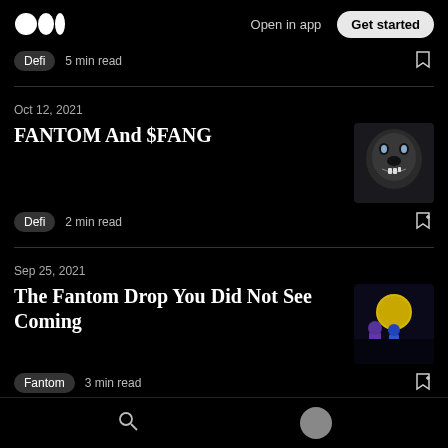Open in app  Get started
Defi  5 min read
Oct 12, 2021
FANTOM And $FANG
Defi  2 min read
[Figure (photo): Dark image of a growling wolf/bear face with teeth showing]
Sep 25, 2021
The Fantom Drop You Did Not See Coming
Fantom  3 min read
[Figure (photo): Pixel art / cartoon style image with characters under a yellow moon on dark background]
Sep 16, 2021